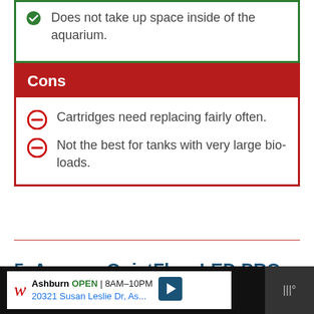Does not take up space inside of the aquarium.
Cons
Cartridges need replacing fairly often.
Not the best for tanks with very large bio-loads.
5. Aqueon QuietFlow LED PRO